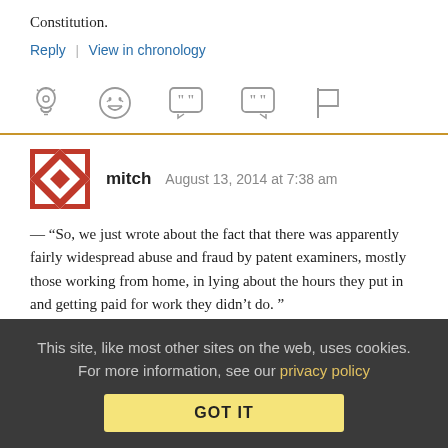Constitution.
Reply | View in chronology
[Figure (other): Row of five reaction/action icons: lightbulb, laughing emoji, open-quote speech bubble, closed-quote speech bubble, flag]
mitch   August 13, 2014 at 7:38 am
— “So, we just wrote about the fact that there was apparently fairly widespread abuse and fraud by patent examiners, mostly those working from home, in lying about the hours they put in and getting paid for work they didn’t do. ”
This site, like most other sites on the web, uses cookies. For more information, see our privacy policy
GOT IT